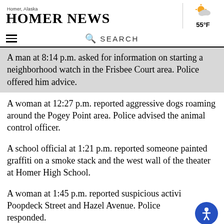Homer News — Homer, Alaska — 55°F
A man at 8:14 p.m. asked for information on starting a neighborhood watch in the Frisbee Court area. Police offered him advice.
A woman at 12:27 p.m. reported aggressive dogs roaming around the Pogey Point area. Police advised the animal control officer.
A school official at 1:21 p.m. reported someone painted graffiti on a smoke stack and the west wall of the theater at Homer High School.
A woman at 1:45 p.m. reported suspicious activity at Poopdeck Street and Hazel Avenue. Police responded.